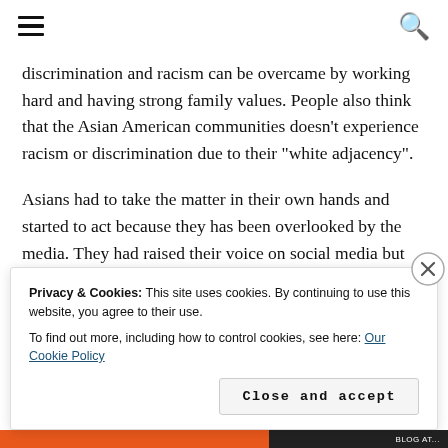[hamburger menu icon] [search icon]
discrimination and racism can be overcame by working hard and having strong family values. People also think that the Asian American communities doesn't experience racism or discrimination due to their “white adjacency”.
Asians had to take the matter in their own hands and started to act because they has been overlooked by the media. They had raised their voice on social media but they still need our help.
Privacy & Cookies: This site uses cookies. By continuing to use this website, you agree to their use.
To find out more, including how to control cookies, see here: Our Cookie Policy
[Close and accept button]